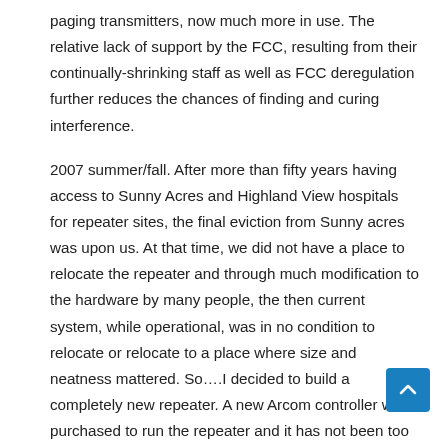paging transmitters, now much more in use. The relative lack of support by the FCC, resulting from their continually-shrinking staff as well as FCC deregulation further reduces the chances of finding and curing interference.
2007 summer/fall. After more than fifty years having access to Sunny Acres and Highland View hospitals for repeater sites, the final eviction from Sunny acres was upon us. At that time, we did not have a place to relocate the repeater and through much modification to the hardware by many people, the then current system, while operational, was in no condition to relocate or relocate to a place where size and neatness mattered. So….I decided to build a completely new repeater. A new Arcom controller was purchased to run the repeater and it has not been too much of a headache. The transmitter I built consists of two paralleled PA assemblies from 100-watt Motorola Syntor X® mobile radios mounted on a heatsink from a Motorola 800mhz 100-watt PA the unit puts out about 175 watts. Its exciter is a low power Mitrek®